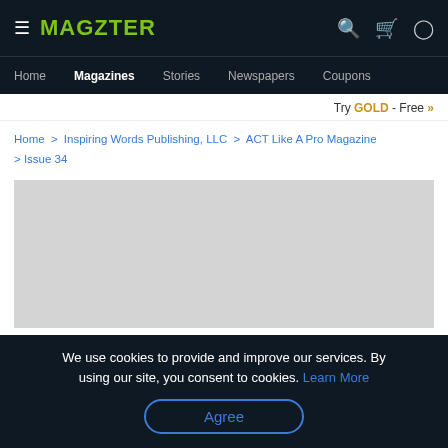MAGZTER
Home  Magazines  Stories  Newspapers  Coupons
Try GOLD - Free >>
Home > Inspiring Words Publishing, LLC > ACT Like A Pro Magazine > Issue 34
[Figure (other): Gray placeholder rectangle for magazine cover image]
We use cookies to provide and improve our services. By using our site, you consent to cookies. Learn More
Agree